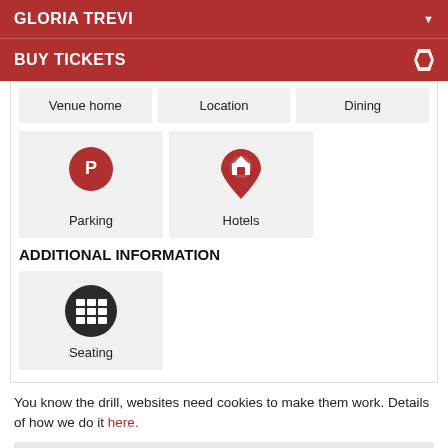GLORIA TREVI
BUY TICKETS
Venue home | Location | Dining
[Figure (illustration): Map pin icon with letter P for Parking]
Parking
[Figure (illustration): Map pin icon with house symbol for Hotels]
Hotels
ADDITIONAL INFORMATION
[Figure (illustration): Dark circular icon with grid/seating chart symbol for Seating]
Seating
You know the drill, websites need cookies to make them work. Details of how we do it here.
Got it!